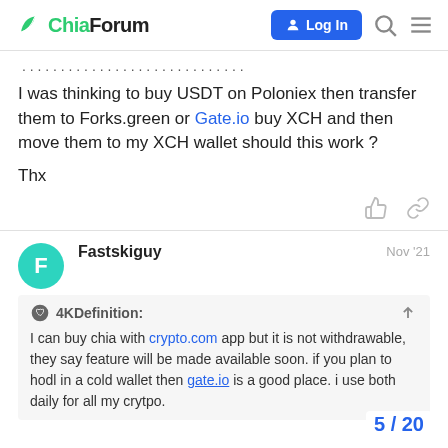ChiaForum | Log In
I was thinking to buy USDT on Poloniex then transfer them to Forks.green or Gate.io buy XCH and then move them to my XCH wallet should this work ?
Thx
Fastskiguy  Nov '21
4KDefinition: I can buy chia with crypto.com app but it is not withdrawable, they say feature will be made available soon. if you plan to hodl in a cold wallet then gate.io is a good place. i use both daily for all my crytpo.
5 / 20